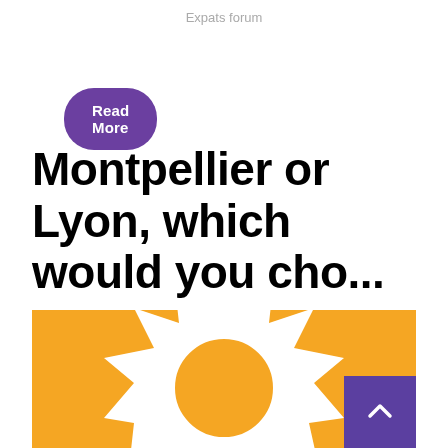Expats forum
Read More
Montpellier or Lyon, which would you cho...
[Figure (illustration): Golden/yellow background with a white sun icon (circle with pointed rays) partially visible, cropped at bottom. A purple scroll-to-top button with a caret/arrow symbol in the bottom-right corner.]